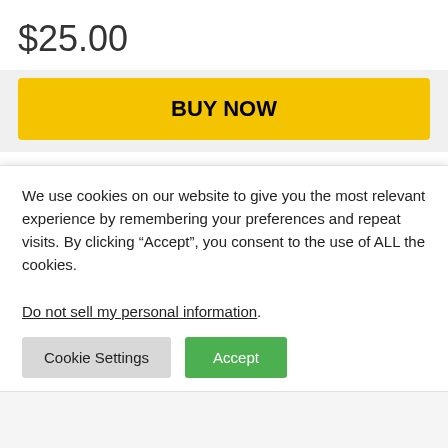$25.00
BUY NOW
Category: RED & IRRITATION
Tags: Aloe, AntiAging, AntiWrinkle, Band, Chin, Collagen, Contouring, Double, Face, firming, Hydrogel, Lift, Lifting, Line, Mask, Masks, Piece, Reducer, Shaping, Sheet, SKIN CONDITION RED and
We use cookies on our website to give you the most relevant experience by remembering your preferences and repeat visits. By clicking “Accept”, you consent to the use of ALL the cookies.
Do not sell my personal information.
Cookie Settings
Accept